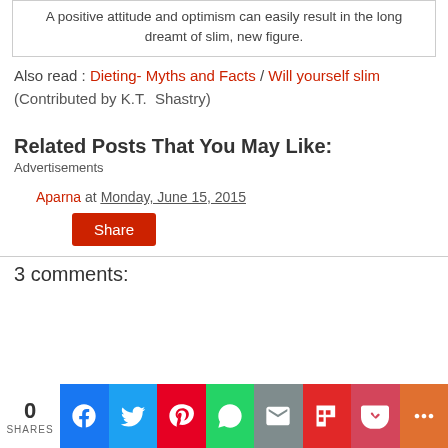A positive attitude and optimism can easily result in the long dreamt of slim, new figure.
Also read : Dieting- Myths and Facts / Will yourself slim
(Contributed by K.T.  Shastry)
Related Posts That You May Like:
Advertisements
Aparna at Monday, June 15, 2015
Share
3 comments:
0 SHARES